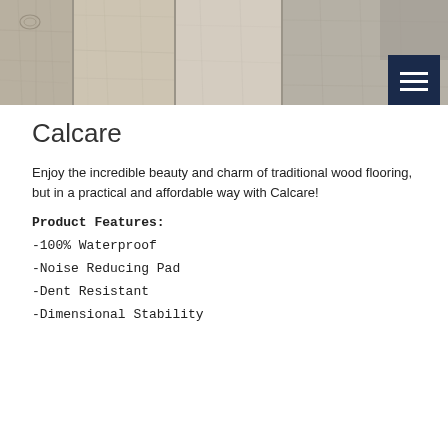[Figure (photo): Wood flooring planks photo showing grey/beige weathered wood grain texture in multiple panels side by side]
Calcare
Enjoy the incredible beauty and charm of traditional wood flooring, but in a practical and affordable way with Calcare!
Product Features:
-100% Waterproof
-Noise Reducing Pad
-Dent Resistant
-Dimensional Stability